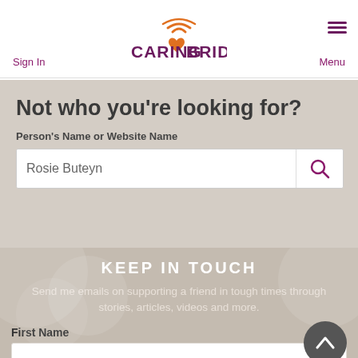CARING BRIDGE.
Sign In
Menu
Not who you’re looking for?
Person’s Name or Website Name
Rosie Buteyn
KEEP IN TOUCH
Send me emails on supporting a friend in tough times through stories, articles, videos and more.
First Name
Jane
Email